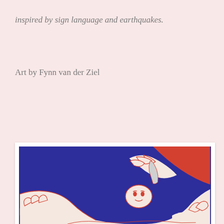inspired by sign language and earthquakes.
Art by Fynn van der Ziel
[Figure (illustration): A two-color (navy blue and red-orange on white) illustration showing hands pressing or poking a small figure/face, rendered in a bold graphic print style.]